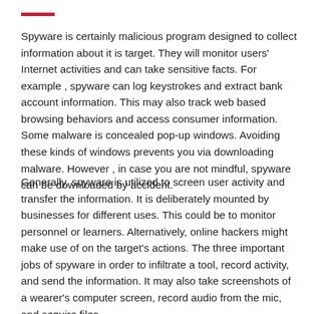Spyware is certainly malicious program designed to collect information about it is target. They will monitor users' Internet activities and can take sensitive facts. For example , spyware can log keystrokes and extract bank account information. This may also track web based browsing behaviors and access consumer information. Some malware is concealed pop-up windows. Avoiding these kinds of windows prevents you via downloading malware. However , in case you are not mindful, spyware can be downloaded by accident.
Generally, spyware is utilized to screen user activity and transfer the information. It is deliberately mounted by businesses for different uses. This could be to monitor personnel or learners. Alternatively, online hackers might make use of on the target's actions. The three important jobs of spyware in order to infiltrate a tool, record activity, and send the information. It may also take screenshots of a wearer's computer screen, record audio from the mic, and acquire files.